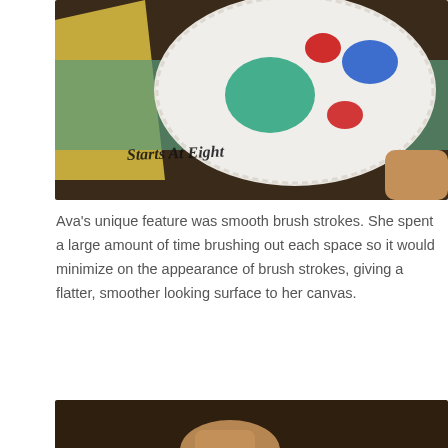[Figure (photo): Close-up photo of a paper plate palette with blobs of teal, red, and blue paint on it, held by a child's hand. Yellow and green geometric shapes visible in background. Text watermark reads 'Starts At Eight' in black cursive font.]
Ava's unique feature was smooth brush strokes. She spent a large amount of time brushing out each space so it would minimize on the appearance of brush strokes, giving a flatter, smoother looking surface to her canvas.
[Figure (photo): Close-up photo of a child's hand holding a paintbrush painting teal/green color onto a yellow-painted canvas surface on a wooden table.]